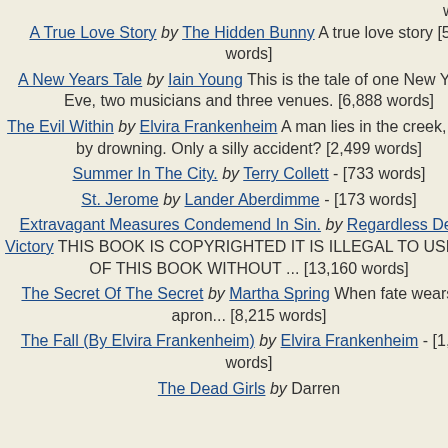words]
A True Love Story by The Hidden Bunny A true love story [543 words]
A New Years Tale by Iain Young This is the tale of one New Years Eve, two musicians and three venues. [6,888 words]
The Evil Within by Elvira Frankenheim A man lies in the creek, death by drowning. Only a silly accident? [2,499 words]
Summer In The City. by Terry Collett - [733 words]
St. Jerome by Lander Aberdimme - [173 words]
Extravagant Measures Condemend In Sin. by Regardless Devon Victory THIS BOOK IS COPYRIGHTED IT IS ILLEGAL TO USE ANY OF THIS BOOK WITHOUT ... [13,160 words]
The Secret Of The Secret by Martha Spring When fate wears an apron... [8,215 words]
The Fall (By Elvira Frankenheim) by Elvira Frankenheim - [1,591 words]
The Dead Girls by Darren
criminal justice teacher at Buffa
Submit Your Review
Required fi
Your e-mail ad
Your Name*
City
Your Review
Please Enter Co
Submit Y
Submit Your Rating f